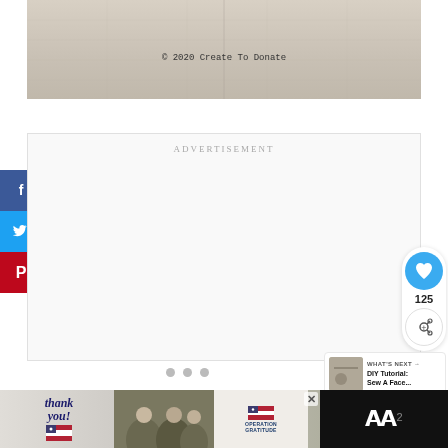[Figure (photo): Linen or fabric texture with embroidered or printed text '© 2020 Create To Donate' centered on a beige/tan fabric background]
© 2020 Create To Donate
ADVERTISEMENT
[Figure (infographic): Social media share buttons on left sidebar: Facebook (blue, f icon), Twitter (light blue, bird icon), Pinterest (red, P icon)]
[Figure (infographic): Heart/like button showing count 125, and share button with plus icon]
125
[Figure (infographic): What's Next panel with thumbnail and text: 'WHAT'S NEXT → DIY Tutorial: Sew A Face...']
WHAT'S NEXT → DIY Tutorial: Sew A Face...
[Figure (photo): Bottom advertisement banner with 'Thank you!' text, American flag graphic, soldiers photo, Operation Gratitude logo, and close button]